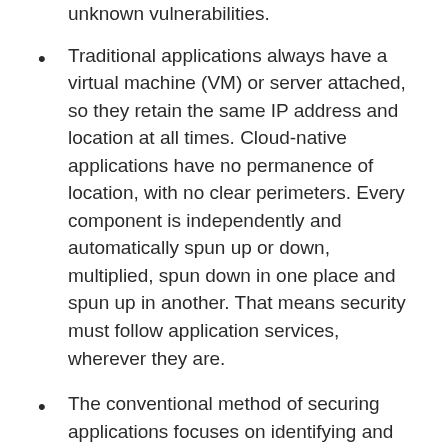unknown vulnerabilities.
Traditional applications always have a virtual machine (VM) or server attached, so they retain the same IP address and location at all times. Cloud-native applications have no permanence of location, with no clear perimeters. Every component is independently and automatically spun up or down, multiplied, spun down in one place and spun up in another. That means security must follow application services, wherever they are.
The conventional method of securing applications focuses on identifying and mitigating code vulnerabilities before they're exploitable. For example, security policy might require fixing all critical vulnerabilities before moving an application to production. But analyzing